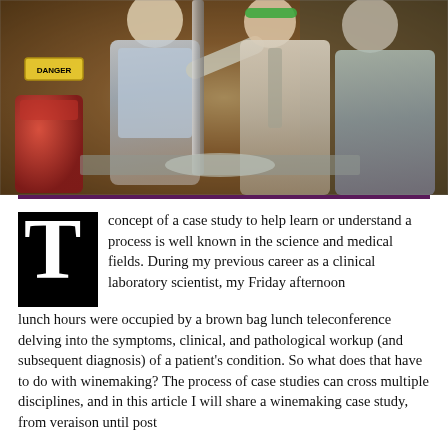[Figure (photo): Three people in an industrial/laboratory setting. A man in a light blue shirt gestures and points while explaining something to two others — a person with a green headband and another in a grey shirt — standing near equipment. A red piece of machinery and a 'DANGER' sign are visible in the background.]
The concept of a case study to help learn or understand a process is well known in the science and medical fields. During my previous career as a clinical laboratory scientist, my Friday afternoon lunch hours were occupied by a brown bag lunch teleconference delving into the symptoms, clinical, and pathological workup (and subsequent diagnosis) of a patient's condition. So what does that have to do with winemaking? The process of case studies can cross multiple disciplines, and in this article I will share a winemaking case study, from veraison until post